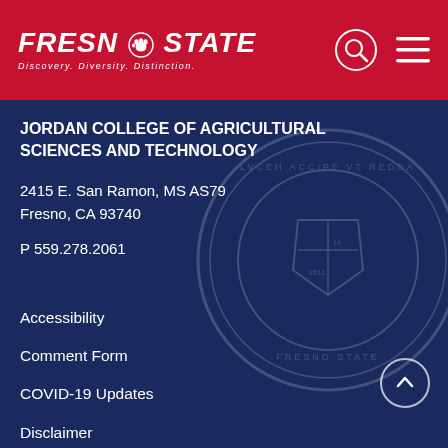[Figure (logo): Fresno State logo with paw print icon and tagline 'Discovery. Diversity. Distinction.' on red header bar]
JORDAN COLLEGE OF AGRICULTURAL SCIENCES AND TECHNOLOGY
2415 E. San Ramon, MS AS79
Fresno, CA 93740
P 559.278.2061
Accessibility
Comment Form
COVID-19 Updates
Disclaimer
Emergencies